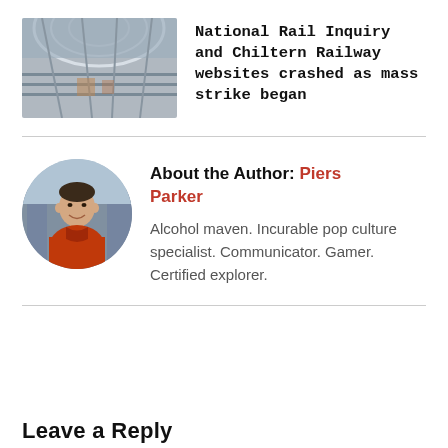[Figure (photo): Photo of a railway station interior with glass roof and platforms]
National Rail Inquiry and Chiltern Railway websites crashed as mass strike began
[Figure (photo): Circular portrait photo of author Piers Parker, a young man wearing an orange sweater]
About the Author: Piers Parker
Alcohol maven. Incurable pop culture specialist. Communicator. Gamer. Certified explorer.
Leave a Reply